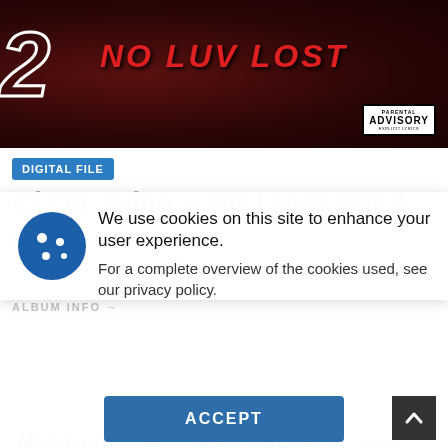[Figure (illustration): Album cover for 'No Luv Lost 2' by Cj Da Juice. Dark red background with large outlined number '2' and red bold italic text 'NO LUV LOST'. Parental Advisory label in bottom right.]
DIGITAL FILE
Cj Da Juice – No Luv Lost 2
RAPPER
ad music album No Luv Lost 2 by Cj Da Juice, released on December 11, 2020. ℗ Not On Label
ALBUM INFO →
We use cookies on this site to enhance your user experience.
For a complete overview of the cookies used, see our privacy policy.
ACCEPT
Maryland (155)  Massachusetts (341)